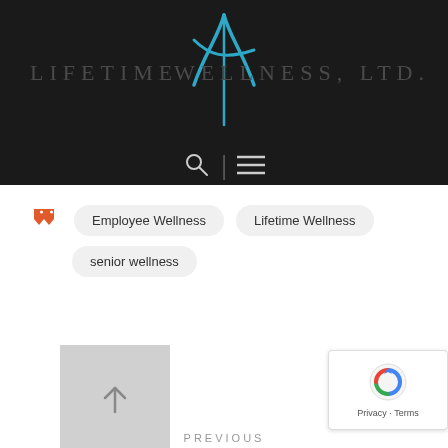[Figure (logo): Lifetime Wellness Ltd. logo: stylized figure/cross icon in blue, with 'LIFETIME' text on left and 'WELLNESS, LTD.' text on right, on dark background]
[Figure (screenshot): Navigation bar with search icon and hamburger menu icon, separated by a vertical line, on dark background]
Employee Wellness
Lifetime Wellness
senior wellness
[Figure (other): Back to top button: gray square with upward arrow]
PREVIOUS
[Figure (other): reCAPTCHA badge with Privacy and Terms links]